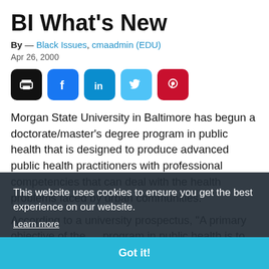BI What's New
By — Black Issues, cmaadmin (EDU)
Apr 26, 2000
[Figure (other): Social sharing icon buttons: print (black), Facebook (blue), LinkedIn (dark blue), Twitter (light blue), Pinterest (red)]
Morgan State University in Baltimore has begun a doctorate/master's degree program in public health that is designed to produce advanced public health practitioners with professional competencies that can deal with the health problems faced by urban communities.
According to a university prospectus, "A primary objective of the … program in public health is to provide students with analytical, communication, program planning, cultural
This website uses cookies to ensure you get the best experience on our website.
Learn more
Got it!